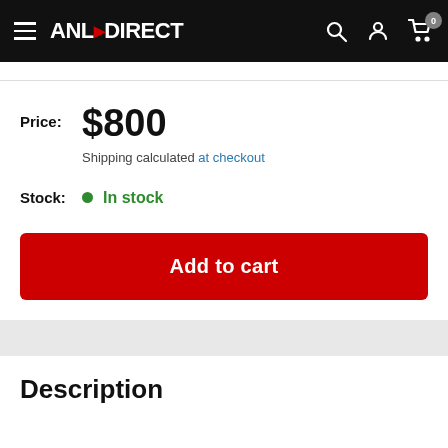ANL·DIRECT
Price: $800 Shipping calculated at checkout
Stock: In stock
Add to cart
Description